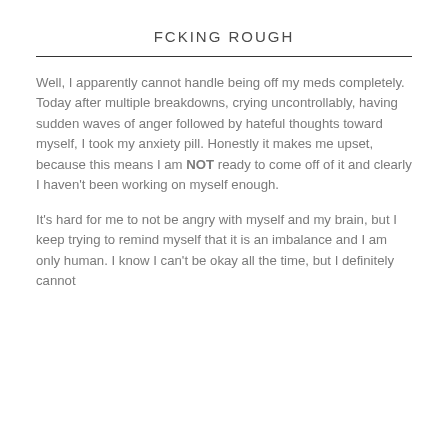FCKING ROUGH
Well, I apparently cannot handle being off my meds completely. Today after multiple breakdowns, crying uncontrollably, having sudden waves of anger followed by hateful thoughts toward myself, I took my anxiety pill. Honestly it makes me upset, because this means I am NOT ready to come off of it and clearly I haven't been working on myself enough.
It's hard for me to not be angry with myself and my brain, but I keep trying to remind myself that it is an imbalance and I am only human. I know I can't be okay all the time, but I definitely cannot